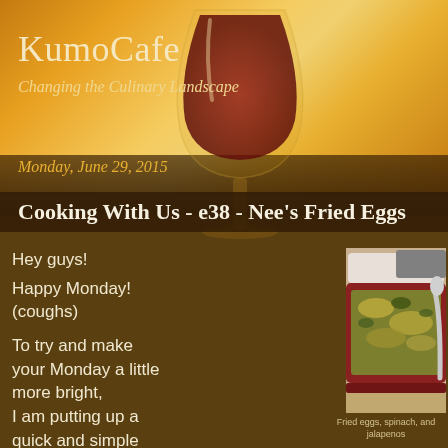KumoCafe
Changing the Culinary Landscape
Monday, June 29, 2015
Cooking With Us - e38 - Nee's Fried Eggs
Hey guys!
Happy Monday!
(coughs)
To try and make your Monday a little more bright,
I am putting up a quick and simple
recipe that
[Figure (photo): Plate of fried eggs with spinach and jalapenos on a red rectangular dish, with a spoon to the right and plates in the background]
Fried eggs, spinach, and jalapenos